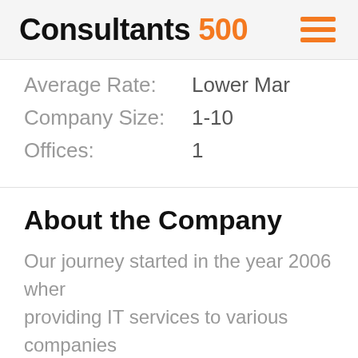Consultants 500
Average Rate: Lower Mar
Company Size: 1-10
Offices: 1
About the Company
Our journey started in the year 2006 when providing IT services to various companies